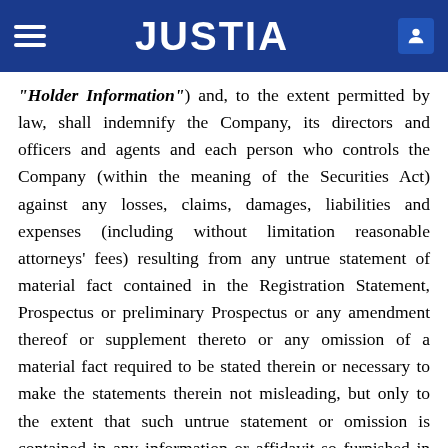JUSTIA
"Holder Information") and, to the extent permitted by law, shall indemnify the Company, its directors and officers and agents and each person who controls the Company (within the meaning of the Securities Act) against any losses, claims, damages, liabilities and expenses (including without limitation reasonable attorneys' fees) resulting from any untrue statement of material fact contained in the Registration Statement, Prospectus or preliminary Prospectus or any amendment thereof or supplement thereto or any omission of a material fact required to be stated therein or necessary to make the statements therein not misleading, but only to the extent that such untrue statement or omission is contained in any information or affidavit so furnished in writing by such Holder expressly for use therein; provided, however, that the obligation to indemnify shall be several, not joint and several, among such Holders of